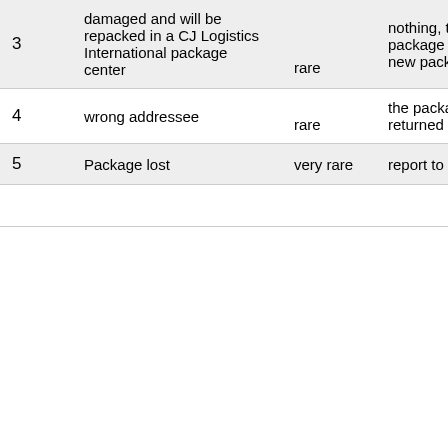| # | Description | Frequency | Action |
| --- | --- | --- | --- |
| 3 | damaged and will be repacked in a CJ Logistics International package center | rare | nothing, the package only gets new packaging |
| 4 | wrong addressee | rare | the package will be returned to you |
| 5 | Package lost | very rare | report to the seller |
|  |  |  |  |